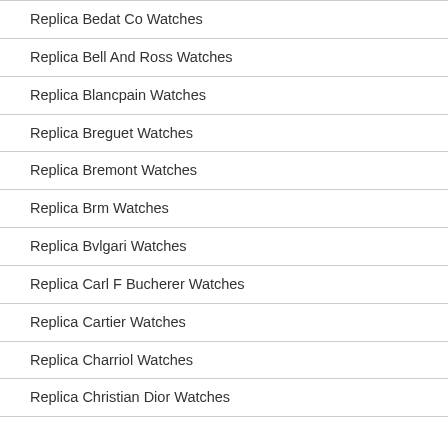Replica Bedat Co Watches
Replica Bell And Ross Watches
Replica Blancpain Watches
Replica Breguet Watches
Replica Bremont Watches
Replica Brm Watches
Replica Bvlgari Watches
Replica Carl F Bucherer Watches
Replica Cartier Watches
Replica Charriol Watches
Replica Christian Dior Watches